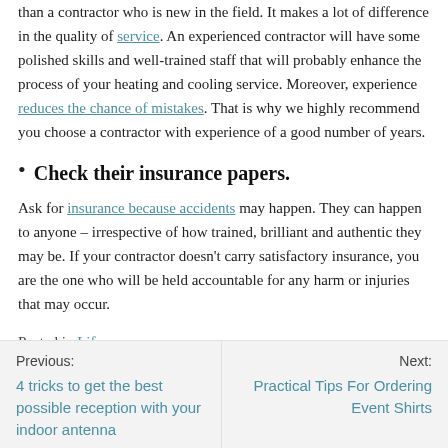than a contractor who is new in the field. It makes a lot of difference in the quality of service. An experienced contractor will have some polished skills and well-trained staff that will probably enhance the process of your heating and cooling service. Moreover, experience reduces the chance of mistakes. That is why we highly recommend you choose a contractor with experience of a good number of years.
Check their insurance papers.
Ask for insurance because accidents may happen. They can happen to anyone – irrespective of how trained, brilliant and authentic they may be. If your contractor doesn't carry satisfactory insurance, you are the one who will be held accountable for any harm or injuries that may occur.
Posted in Life
Previous: 4 tricks to get the best possible reception with your indoor antenna | Next: Practical Tips For Ordering Event Shirts